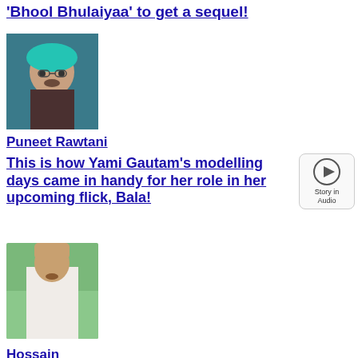'Bhool Bhulaiyaa' to get a sequel!
[Figure (photo): Photo of Puneet Rawtani with teal/turquoise dyed hair and glasses]
Puneet Rawtani
This is how Yami Gautam's modelling days came in handy for her role in her upcoming flick, Bala!
[Figure (other): Story in Audio button with play icon]
[Figure (photo): Photo of Hossain standing outdoors in white kurta with green foliage background]
Hossain